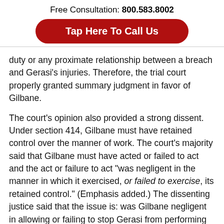Free Consultation: 800.583.8002
Tap Here To Call Us
duty or any proximate relationship between a breach and Gerasi's injuries. Therefore, the trial court properly granted summary judgment in favor of Gilbane.
The court's opinion also provided a strong dissent. Under section 414, Gilbane must have retained control over the manner of work. The court's majority said that Gilbane must have acted or failed to act and the act or failure to act "was negligent in the manner in which it exercised, or failed to exercise, its retained control." (Emphasis added.) The dissenting justice said that the issue is: was Gilbane negligent in allowing or failing to stop Gerasi from performing the tie-in in an unsafe manner — not whether to do a tie-in? It was stated that here, there is certainly a